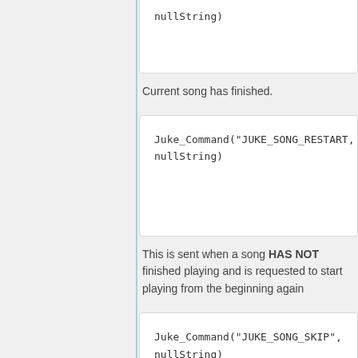nullString)
Current song has finished.
Juke_Command("JUKE_SONG_RESTART", nullString)
This is sent when a song HAS NOT finished playing and is requested to start playing from the beginning again
Juke_Command("JUKE_SONG_SKIP", nullString)